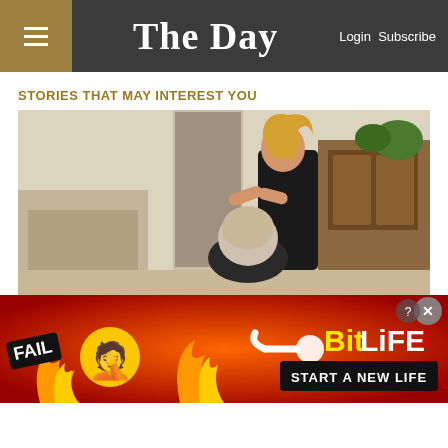The Day — Login Subscribe
STORIES THAT MAY INTEREST YOU
[Figure (photo): A woman with blonde hair cuts or styles the hair of a seated man in a home kitchen/living room setting. She is standing behind him holding scissors or a comb to his head. A wooden china cabinet is visible in the background.]
Compensation for caring for a loved
[Figure (infographic): BitLife advertisement banner with red/orange background, FAIL text, cartoon emoji of a face-palm, flame emoji, sperm icon, BitLife logo in yellow, and 'START A NEW LIFE' button in black.]